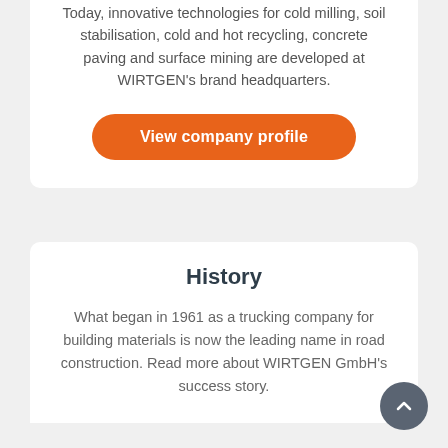Today, innovative technologies for cold milling, soil stabilisation, cold and hot recycling, concrete paving and surface mining are developed at WIRTGEN's brand headquarters.
View company profile
History
What began in 1961 as a trucking company for building materials is now the leading name in road construction. Read more about WIRTGEN GmbH's success story.